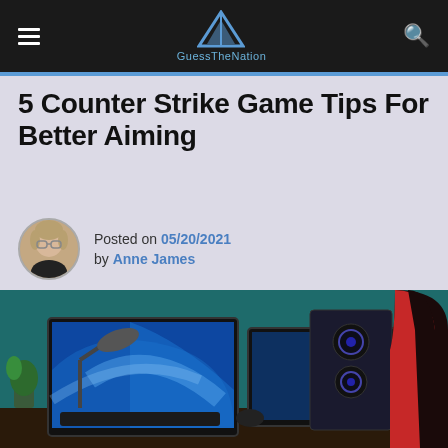GuessTheNation
5 Counter Strike Game Tips For Better Aiming
Posted on 05/20/2021 by Anne James
[Figure (photo): Gaming setup with a monitor displaying Windows 10 desktop, a PC tower with RGB lighting, a desk lamp, and a gaming chair on the right side, all lit with teal/blue ambient lighting.]